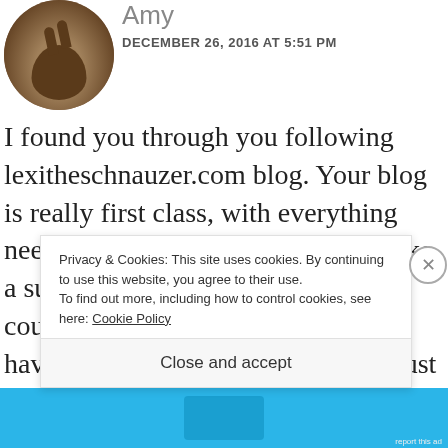[Figure (photo): Circular avatar photo of a rabbit/small animal with brownish fur]
Amy
DECEMBER 26, 2016 AT 5:51 PM
I found you through you following lexitheschnauzer.com blog. Your blog is really first class, with everything needed to be informative. May I make a suggestion? If it was me (and I couldn't do half as well as what you have done, but please let me make just this one suggestion) I would have broken it up into about t... t...
Privacy & Cookies: This site uses cookies. By continuing to use this website, you agree to their use.
To find out more, including how to control cookies, see here: Cookie Policy
Close and accept